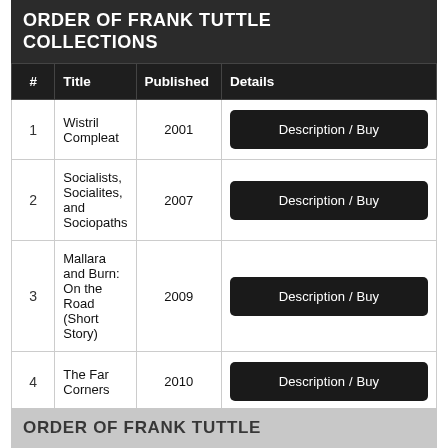ORDER OF FRANK TUTTLE COLLECTIONS
| # | Title | Published | Details |
| --- | --- | --- | --- |
| 1 | Wistril Compleat | 2001 | Description / Buy |
| 2 | Socialists, Socialites, and Sociopaths | 2007 | Description / Buy |
| 3 | Mallara and Burn: On the Road (Short Story) | 2009 | Description / Buy |
| 4 | The Far Corners | 2010 | Description / Buy |
ORDER OF FRANK TUTTLE